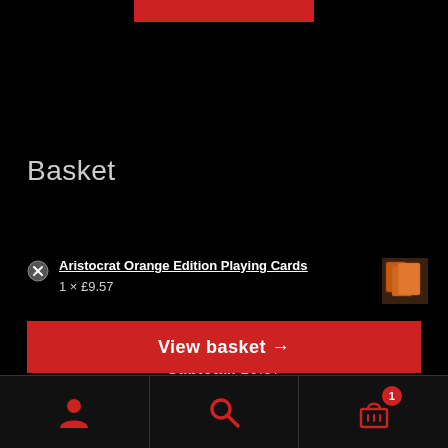[Figure (screenshot): Red bar at top center of black screen]
Basket
Aristocrat Orange Edition Playing Cards 1 × £9.57
Subtotal: £9.57
View basket →
Navigation bar with account, search, and basket (1) icons